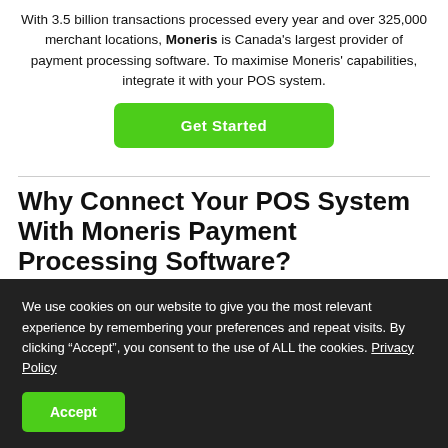With 3.5 billion transactions processed every year and over 325,000 merchant locations, Moneris is Canada's largest provider of payment processing software. To maximise Moneris' capabilities, integrate it with your POS system.
Get Started
Why Connect Your POS System With Moneris Payment Processing Software?
We use cookies on our website to give you the most relevant experience by remembering your preferences and repeat visits. By clicking “Accept”, you consent to the use of ALL the cookies. Privacy Policy
Accept